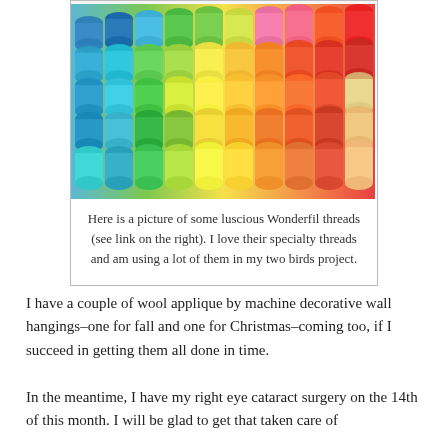[Figure (photo): Colorful thread spools arranged in a gradient pattern from blue/green on the left to orange/red on the right, photographed from above.]
Here is a picture of some luscious Wonderfil threads (see link on the right). I love their specialty threads and am using a lot of them in my two birds project.
I have a couple of wool applique by machine decorative wall hangings–one for fall and one for Christmas–coming too, if I succeed in getting them all done in time.
In the meantime, I have my right eye cataract surgery on the 14th of this month. I will be glad to get that taken care of